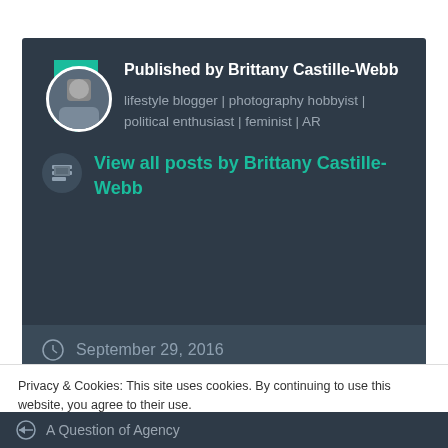Published by Brittany Castille-Webb
lifestyle blogger | photography hobbyist | political enthusiast | feminist | AR
View all posts by Brittany Castille-Webb
September 29, 2016
Privacy & Cookies: This site uses cookies. By continuing to use this website, you agree to their use.
To find out more, including how to control cookies, see here: Cookie Policy
Close and accept
A Question of Agency